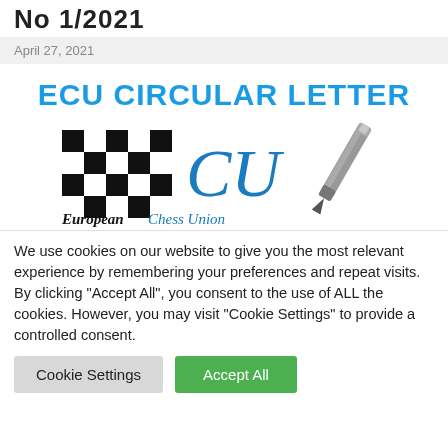No 1/2021
April 27, 2021
ECU CIRCULAR LETTER
[Figure (logo): European Chess Union logo with checkered pattern and pen illustration]
We use cookies on our website to give you the most relevant experience by remembering your preferences and repeat visits. By clicking “Accept All”, you consent to the use of ALL the cookies. However, you may visit “Cookie Settings” to provide a controlled consent.
Cookie Settings | Accept All